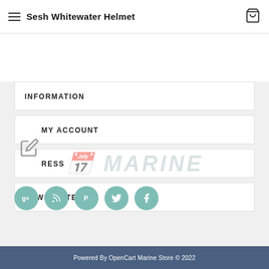Sesh Whitewater Helmet
INFORMATION
MY ACCOUNT
ADDRESS
NEWSLETTER
[Figure (illustration): Five teal circular social media icon buttons: Google+, RSS, Pinterest, Twitter, Facebook]
Powered By OpenCart Marine Store © 2022